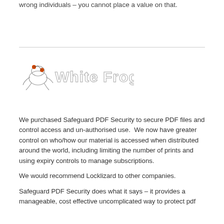wrong individuals – you cannot place a value on that.
[Figure (logo): White Frog company logo with a stylized frog illustration and the text 'White Frog' in grey outline font]
We purchased Safeguard PDF Security to secure PDF files and control access and un-authorised use.  We now have greater control on who/how our material is accessed when distributed around the world, including limiting the number of prints and using expiry controls to manage subscriptions.
We would recommend Locklizard to other companies.
Safeguard PDF Security does what it says – it provides a manageable, cost effective uncomplicated way to protect pdf